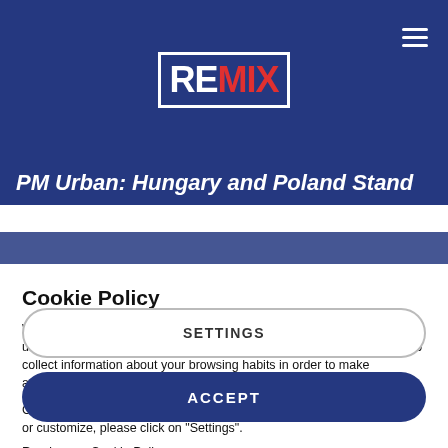[Figure (logo): REMIX logo: white box with 'RE' in white and 'MIX' in red, on dark blue background header bar]
PM Urban: Hungary and Poland Stand
Cookie Policy
We use cookies on the Website to ensure the functionality, to ease of use and security of the website, as well as to monitor user activity and to collect information about your browsing habits in order to make advertising relevant to you and your interests.
Clicking on "Accept" you can allow all cookies. If you would like to reject or customize, please click on "Settings".
Read more: Cookie Policy
SETTINGS
ACCEPT